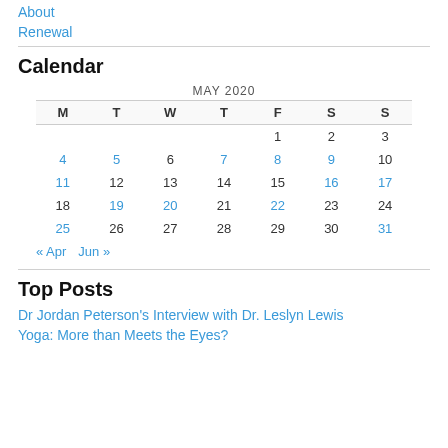About
Renewal
Calendar
| M | T | W | T | F | S | S |
| --- | --- | --- | --- | --- | --- | --- |
|  |  |  |  | 1 | 2 | 3 |
| 4 | 5 | 6 | 7 | 8 | 9 | 10 |
| 11 | 12 | 13 | 14 | 15 | 16 | 17 |
| 18 | 19 | 20 | 21 | 22 | 23 | 24 |
| 25 | 26 | 27 | 28 | 29 | 30 | 31 |
« Apr   Jun »
Top Posts
Dr Jordan Peterson's Interview with Dr. Leslyn Lewis
Yoga: More than Meets the Eyes?